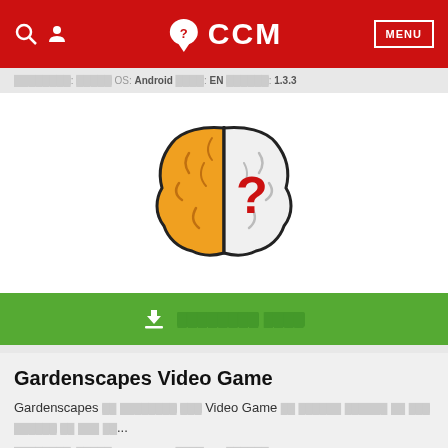CCM
██████: ████ OS: Android ████: EN ██████: 1.3.3
[Figure (illustration): App icon: a stylized brain split in two halves — left half orange/yellow, right half white/grey with a red question mark]
▼ ████████ ████
Gardenscapes Video Game
Gardenscapes ██ ████████ ███ Video Game ██ ██████ ██████ ██ ███ ██████ ██ ███ ██...
██████: ████ OS: Android ████: EN ██████: 4.5.0
[Figure (photo): Thumbnail of Gardenscapes game showing a character in a garden setting]